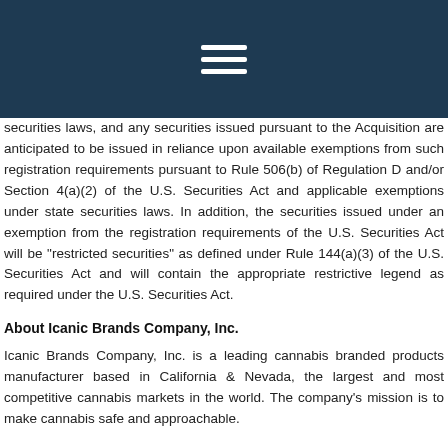☰
securities laws, and any securities issued pursuant to the Acquisition are anticipated to be issued in reliance upon available exemptions from such registration requirements pursuant to Rule 506(b) of Regulation D and/or Section 4(a)(2) of the U.S. Securities Act and applicable exemptions under state securities laws. In addition, the securities issued under an exemption from the registration requirements of the U.S. Securities Act will be "restricted securities" as defined under Rule 144(a)(3) of the U.S. Securities Act and will contain the appropriate restrictive legend as required under the U.S. Securities Act.
About Icanic Brands Company, Inc.
Icanic Brands Company, Inc. is a leading cannabis branded products manufacturer based in California & Nevada, the largest and most competitive cannabis markets in the world. The company's mission is to make cannabis safe and approachable.